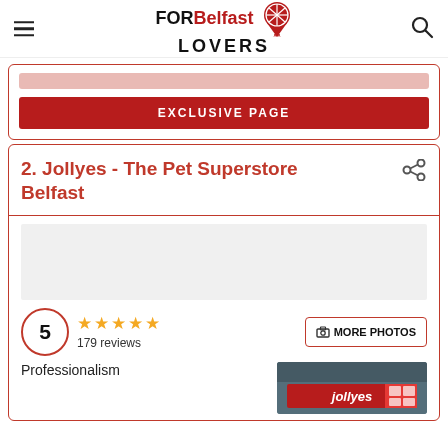FOR Belfast LOVERS
EXCLUSIVE PAGE
2. Jollyes - The Pet Superstore Belfast
5
179 reviews
MORE PHOTOS
[Figure (photo): Jollyes The Pet Superstore storefront sign]
Professionalism